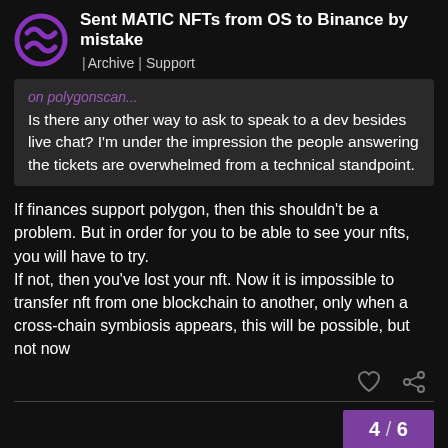Sent MATIC NFTs from OS to Binance by mistake | Archive | Support
on polygonscan...
Is there any other way to ask to speak to a dev besides live chat? I'm under the impression the people answering the tickets are overwhelmed from a technical standpoint.
If finances support polygon, then this shouldn't be a problem. But in order for you to be able to see your nfts, you will have to try.
If not, then you've lost your nft. Now it is impossible to transfer nft from one blockchain to another, only when a cross-chain symbiosis appears, this will be possible, but not now
4 / 6
Reply
Suggested Topics